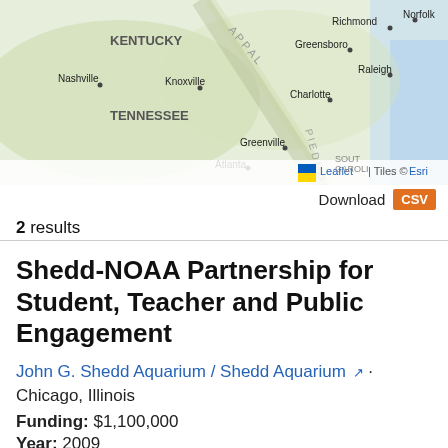[Figure (map): Map showing southeastern United States including Kentucky, Tennessee, North Carolina, Virginia, South Carolina regions with cities: Nashville, Knoxville, Richmond, Norfolk, Greensboro, Raleigh, Charlotte, Greenville, Atlanta. Map attribution: Leaflet | Tiles © Esri]
Download CSV
2 results
Shedd-NOAA Partnership for Student, Teacher and Public Engagement
John G. Shedd Aquarium / Shedd Aquarium · Chicago, Illinois
Funding: $1,100,000
Year: 2009
Shedd Aquarium has launched a